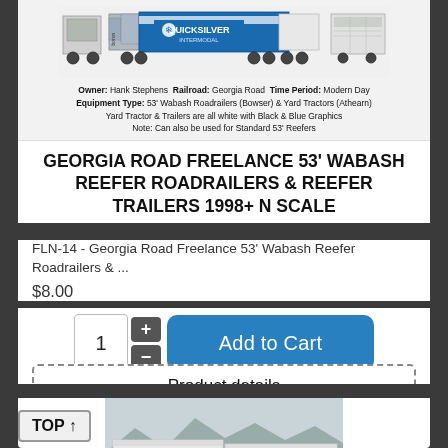[Figure (illustration): Illustration of 53' Wabash Roadrailers and Yard Tractors with Quicksilver Intermodal branding, shown from side view. White trailers with black and blue graphics.]
Owner: Hank Stephens  Railroad: Georgia Road  Time Period: Modern Day
Equipment Type: 53' Wabash Roadrailers (Bowser) & Yard Tractors (Athearn)
Yard Tractor & Trailers are all white with Black & Blue Graphics
Note: Can also be used for Standard 53' Reefers
GEORGIA ROAD FREELANCE 53' WABASH REEFER ROADRAILERS & REEFER TRAILERS 1998+ N SCALE
FLN-14 - Georgia Road Freelance 53' Wabash Reefer Roadrailers & ...
$8.00
[Figure (photo): Photograph of real Northstar Freight Lines roadrailers on flatcar train, showing white trailers with Northstar branding in outdoor/rail yard setting.]